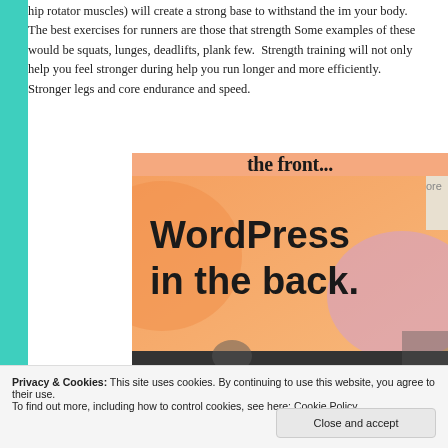hip rotator muscles) will create a strong base to withstand the im your body. The best exercises for runners are those that strength Some examples of these would be squats, lunges, deadlifts, plank few. Strength training will not only help you feel stronger during help you run longer and more efficiently. Stronger legs and core endurance and speed.
[Figure (screenshot): Advertisement image showing 'the front...' at top and 'WordPress in the back.' text on an orange/peach gradient background with pink bubble shape]
Privacy & Cookies: This site uses cookies. By continuing to use this website, you agree to their use.
To find out more, including how to control cookies, see here: Cookie Policy
Close and accept